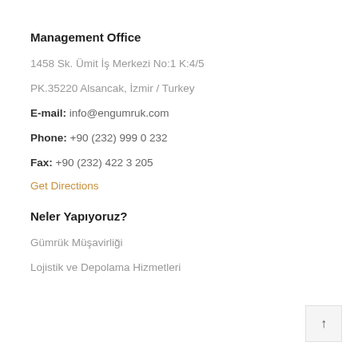Management Office
1458 Sk. Ümit İş Merkezi No:1 K:4/5
PK.35220 Alsancak, İzmir / Turkey
E-mail: info@engumruk.com
Phone: +90 (232) 999 0 232
Fax: +90 (232) 422 3 205
Get Directions
Neler Yapıyoruz?
Gümrük Müşavirliği
Lojistik ve Depolama Hizmetleri